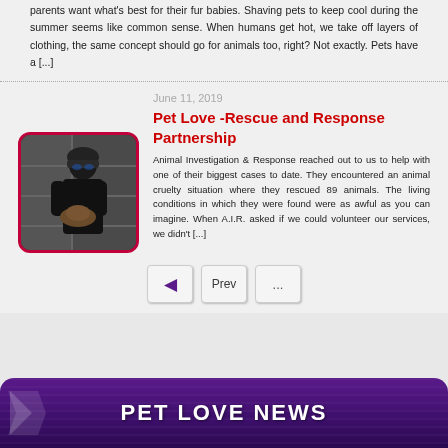parents want what's best for their fur babies. Shaving pets to keep cool during the summer seems like common sense. When humans get hot, we take off layers of clothing, the same concept should go for animals too, right? Not exactly. Pets have a [...]
June 11, 2019
Pet Love -Rescue and Response Partnership
[Figure (photo): Photo of a person in black clothing carrying an animal, with a dark background]
Animal Investigation & Response reached out to us to help with one of their biggest cases to date. They encountered an animal cruelty situation where they rescued 89 animals. The living conditions in which they were found were as awful as you can imagine. When A.I.R. asked if we could volunteer our services, we didn't [...]
PET LOVE NEWS